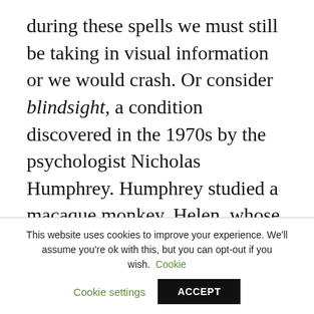during these spells we must still be taking in visual information or we would crash. Or consider blindsight, a condition discovered in the 1970s by the psychologist Nicholas Humphrey. Humphrey studied a macaque monkey, Helen, whose primary visual cortex had been surgically removed. By the usual tests Helen was blind, but Humphrey discovered that, with encouragement, she could detect a range of visual stimuli, and
This website uses cookies to improve your experience. We'll assume you're ok with this, but you can opt-out if you wish. Cookie settings ACCEPT